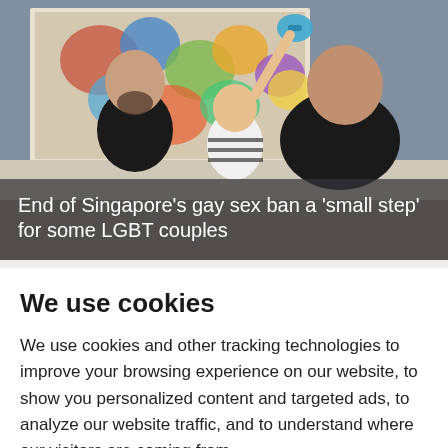[Figure (photo): Two men sitting on a couch with a young child. One man has a beard and wears a black shirt, the other wears a black t-shirt and holds the child who is raising a toy. A colorful abstract painting hangs on the wall behind them.]
End of Singapore's gay sex ban a 'small step' for some LGBT couples
We use cookies
We use cookies and other tracking technologies to improve your browsing experience on our website, to show you personalized content and targeted ads, to analyze our website traffic, and to understand where our visitors are coming from.